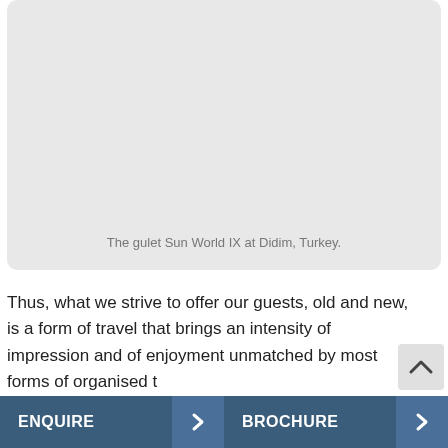[Figure (photo): Large placeholder/photo area showing the gulet Sun World IX at Didim, Turkey — rendered as a light grey rounded rectangle.]
The gulet Sun World IX at Didim, Turkey.
Thus, what we strive to offer our guests, old and new, is a form of travel that brings an intensity of impression and of enjoyment unmatched by most forms of organised t The "secret" to this is very careful preparation, a constant
ENQUIRE   >   BROCHURE   >